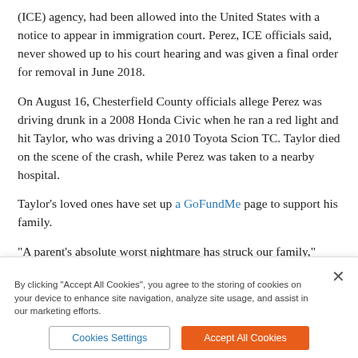(ICE) agency, had been allowed into the United States with a notice to appear in immigration court. Perez, ICE officials said, never showed up to his court hearing and was given a final order for removal in June 2018.
On August 16, Chesterfield County officials allege Perez was driving drunk in a 2008 Honda Civic when he ran a red light and hit Taylor, who was driving a 2010 Toyota Scion TC. Taylor died on the scene of the crash, while Perez was taken to a nearby hospital.
Taylor's loved ones have set up a GoFundMe page to support his family.
“A parent’s absolute worst nightmare has struck our family,” Taylor’s uncle, Randy, posted to the page. “Our amazing Justus Taylor was tragically taken away from his family and friends by a
By clicking “Accept All Cookies”, you agree to the storing of cookies on your device to enhance site navigation, analyze site usage, and assist in our marketing efforts.